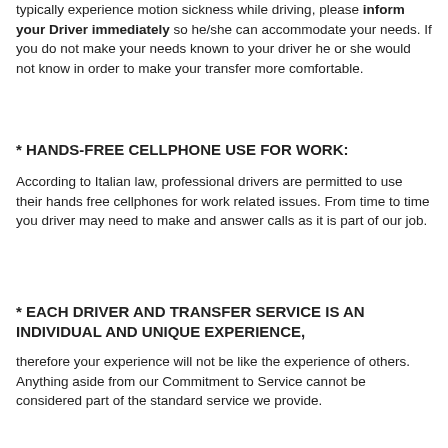typically experience motion sickness while driving, please inform your Driver immediately so he/she can accommodate your needs. If you do not make your needs known to your driver he or she would not know in order to make your transfer more comfortable.
* HANDS-FREE CELLPHONE USE FOR WORK:
According to Italian law, professional drivers are permitted to use their hands free cellphones for work related issues. From time to time you driver may need to make and answer calls as it is part of our job.
* EACH DRIVER AND TRANSFER SERVICE IS AN INDIVIDUAL AND UNIQUE EXPERIENCE,
therefore your experience will not be like the experience of others. Anything aside from our Commitment to Service cannot be considered part of the standard service we provide.